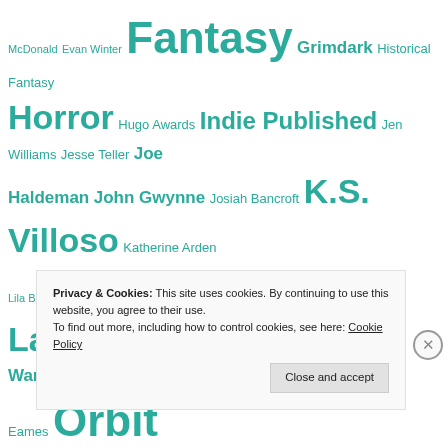[Figure (infographic): Tag cloud of book genres and author names in teal/cyan color on white background. Terms include Fantasy, Horror, Indie Published, Science Fiction, Self-Published, Orbit, TOR, and various author names at different font sizes indicating frequency/weight.]
Privacy & Cookies: This site uses cookies. By continuing to use this website, you agree to their use.
To find out more, including how to control cookies, see here: Cookie Policy
Close and accept